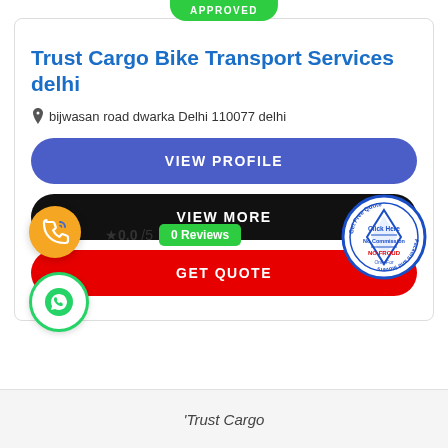[Figure (infographic): Green APPROVED badge at top center of card]
Trust Cargo Bike Transport Services delhi
bijwasan road dwarka Delhi 110077 delhi
VIEW PROFILE
VIEW MORE
GET QUOTE
[Figure (illustration): Orange circular phone call icon]
[Figure (illustration): Green WhatsApp circular icon]
0.0 /5
0 Reviews
[Figure (logo): Circular blue stamp: Get Free Quote, Click Here, No Commission, NO FROUD, Only For Packers and Movers]
'Trust Cargo